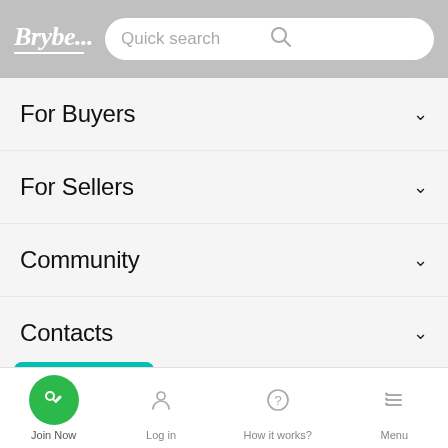[Figure (screenshot): App header with Brybe logo and quick search bar]
For Buyers
For Sellers
Community
Contacts
[Figure (screenshot): Bottom navigation bar with Join Now, Log in, How it works?, Menu]
Join Now   Log in   How it works?   Menu